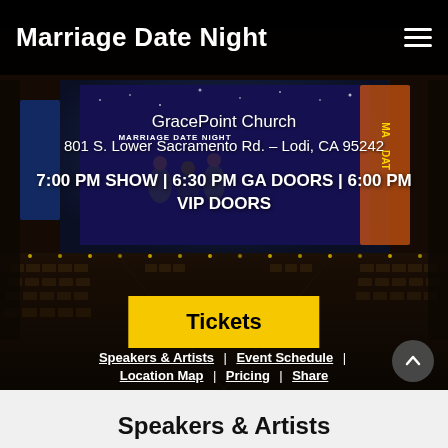Marriage Date Night
[Figure (photo): Theater venue interior with rows of seats and a stage showing Marriage Date Night event branding, performers on screen]
GracePoint Church
801 S. Lower Sacramento Rd. – Lodi, CA 95242
7:00 PM SHOW | 6:30 PM GA DOORS | 6:00 PM VIP DOORS
Tickets
Speakers & Artists  |  Event Schedule  |  Location Map  |  Pricing  |  Share
Speakers & Artists